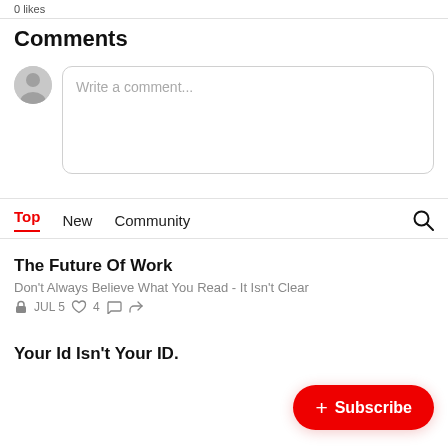0 likes
Comments
Write a comment...
Top   New   Community
The Future Of Work
Don't Always Believe What You Read - It Isn't Clear
JUL 5  ♡ 4
Your Id Isn't Your ID.